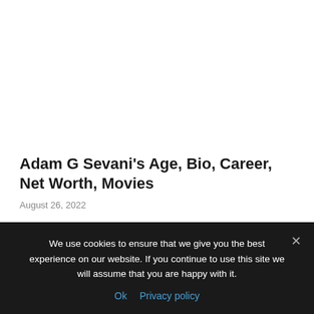Adam G Sevani's Age, Bio, Career, Net Worth, Movies
August 26, 2022
We use cookies to ensure that we give you the best experience on our website. If you continue to use this site we will assume that you are happy with it.
Ok  Privacy policy